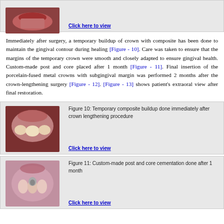[Figure (photo): Intraoral photo of gums/teeth before treatment]
Click here to view
Immediately after surgery, a temporary buildup of crown with composite has been done to maintain the gingival contour during healing [Figure - 10]. Care was taken to ensure that the margins of the temporary crown were smooth and closely adapted to ensure gingival health. Custom-made post and core placed after 1 month [Figure - 11]. Final insertion of the porcelain-fused metal crowns with subgingival margin was performed 2 months after the crown-lengthening surgery [Figure - 12]. [Figure - 13] shows patient's extraoral view after final restoration.
[Figure (photo): Intraoral photo showing temporary composite buildup done immediately after crown lengthening procedure]
Figure 10: Temporary composite buildup done immediately after crown lengthening procedure
Click here to view
[Figure (photo): Intraoral photo showing custom-made post and core cementation done after 1 month]
Figure 11: Custom-made post and core cementation done after 1 month
Click here to view